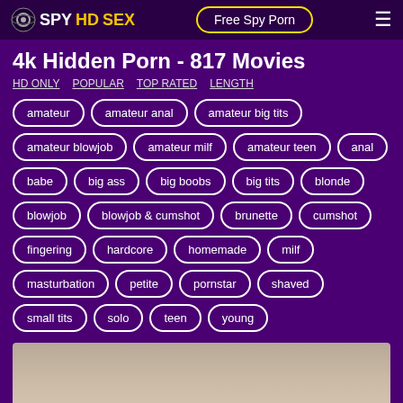SPYHDSEX — Free Spy Porn
4k Hidden Porn - 817 Movies
HD ONLY   POPULAR   TOP RATED   LENGTH
amateur
amateur anal
amateur big tits
amateur blowjob
amateur milf
amateur teen
anal
babe
big ass
big boobs
big tits
blonde
blowjob
blowjob & cumshot
brunette
cumshot
fingering
hardcore
homemade
milf
masturbation
petite
pornstar
shaved
small tits
solo
teen
young
[Figure (photo): Partial view of a room interior, thumbnail preview]